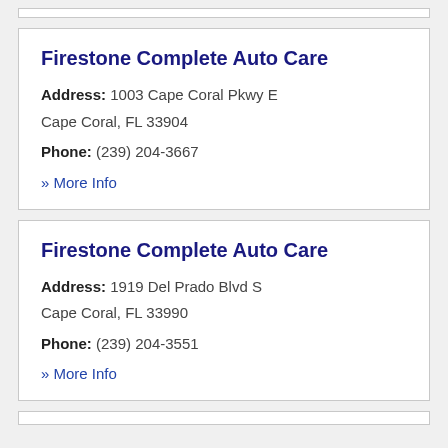Firestone Complete Auto Care
Address: 1003 Cape Coral Pkwy E Cape Coral, FL 33904
Phone: (239) 204-3667
» More Info
Firestone Complete Auto Care
Address: 1919 Del Prado Blvd S Cape Coral, FL 33990
Phone: (239) 204-3551
» More Info